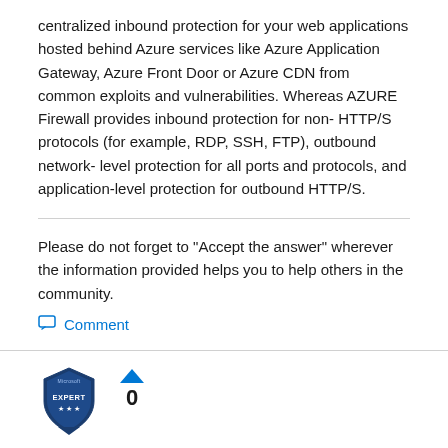centralized inbound protection for your web applications hosted behind Azure services like Azure Application Gateway, Azure Front Door or Azure CDN from common exploits and vulnerabilities. Whereas AZURE Firewall provides inbound protection for non-HTTP/S protocols (for example, RDP, SSH, FTP), outbound network-level protection for all ports and protocols, and application-level protection for outbound HTTP/S.
Please do not forget to "Accept the answer" wherever the information provided helps you to help others in the community.
Comment
[Figure (logo): Microsoft Expert badge icon (dark blue shield shape with EXPERT text and stars)]
0
EnterpriseArchitect answered • Nov 16 2020 at 1:28 PM
Hi @suvasara-MSFT, so in my case here, I'd like to publish the App